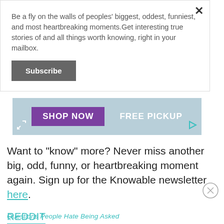Be a fly on the walls of peoples' biggest, oddest, funniest, and most heartbreaking moments.Get interesting true stories of and all things worth knowing, right in your mailbox.
[Figure (screenshot): Subscribe button (dark grey background, white bold text 'Subscribe')]
[Figure (screenshot): Advertisement banner with purple 'SHOP NOW' button and 'FREE PICKUP' text on light blue background, with expand icon on left and play/ad icon on right]
Want to "know" more? Never miss another big, odd, funny, or heartbreaking moment again. Sign up for the Knowable newsletter here.
REDDIT
Questions People Hate Being Asked